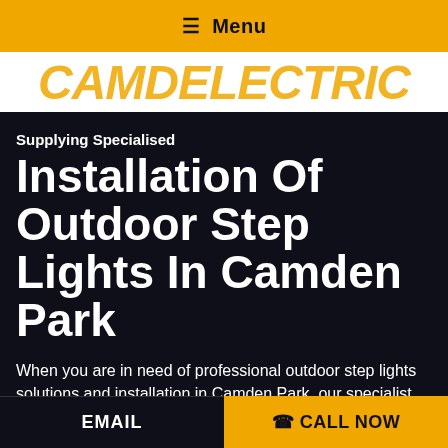☰ Menu
[Figure (logo): Company logo text in gold/amber italic font on white background, partially cropped]
Supplying Specialised
Installation Of Outdoor Step Lights In Camden Park
When you are in need of professional outdoor step lights solutions and installation in Camden Park, our specialist services are
EMAIL   ☎ CALL NOW